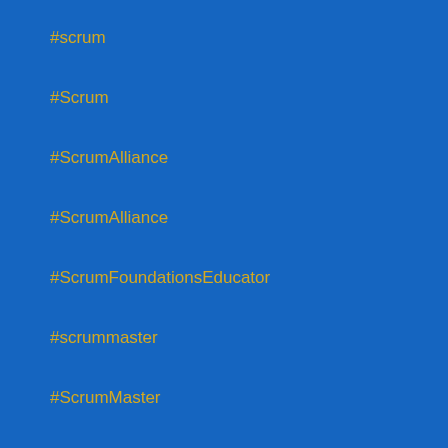#scrum
#Scrum
#ScrumAlliance
#ScrumAlliance
#ScrumFoundationsEducator
#scrummaster
#ScrumMaster
#ScrumMaster
#ScrumStory